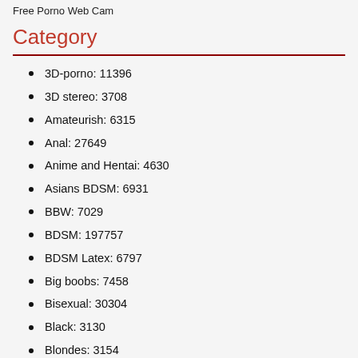Free Porno Web Cam
Category
3D-porno: 11396
3D stereo: 3708
Amateurish: 6315
Anal: 27649
Anime and Hentai: 4630
Asians BDSM: 6931
BBW: 7029
BDSM: 197757
BDSM Latex: 6797
Big boobs: 7458
Bisexual: 30304
Black: 3130
Blondes: 3154